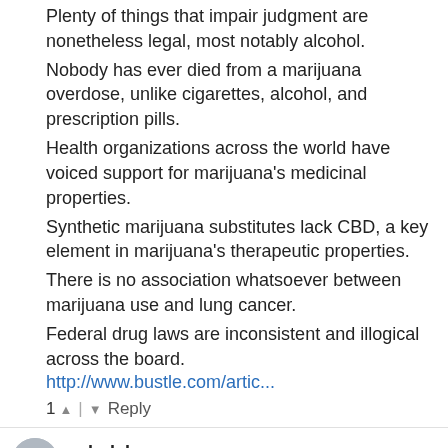Plenty of things that impair judgment are nonetheless legal, most notably alcohol.
Nobody has ever died from a marijuana overdose, unlike cigarettes, alcohol, and prescription pills.
Health organizations across the world have voiced support for marijuana's medicinal properties.
Synthetic marijuana substitutes lack CBD, a key element in marijuana's therapeutic properties.
There is no association whatsoever between marijuana use and lung cancer.
Federal drug laws are inconsistent and illogical across the board.
http://www.bustle.com/artic...
1 ▲ | ▼ Reply
echolele
7 years ago
How about people use that lump a couple feet above their ass, and only take what their tolerance can handle.
▲ | ▼ Reply
BATIK ARTISTS MUST DYE